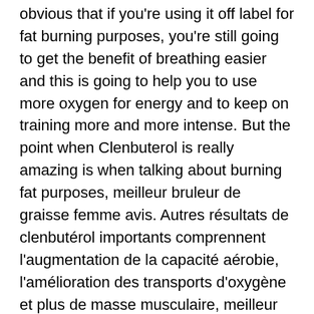obvious that if you're using it off label for fat burning purposes, you're still going to get the benefit of breathing easier and this is going to help you to use more oxygen for energy and to keep on training more and more intense. But the point when Clenbuterol is really amazing is when talking about burning fat purposes, meilleur bruleur de graisse femme avis. Autres résultats de clenbutérol importants comprennent l'augmentation de la capacité aérobie, l'amélioration des transports d'oxygène et plus de masse musculaire, meilleur bruleur de graisse myprotein. Quels sont les effets secondaires de clenbutérol? Above all, you will not get side effects. The ultimate stack for you would be the Cutting Stack, meilleur bruleur de graisse usa. This is Veronica after 90 Days of Hard work, meilleur bruleur de graisse en pharmacie